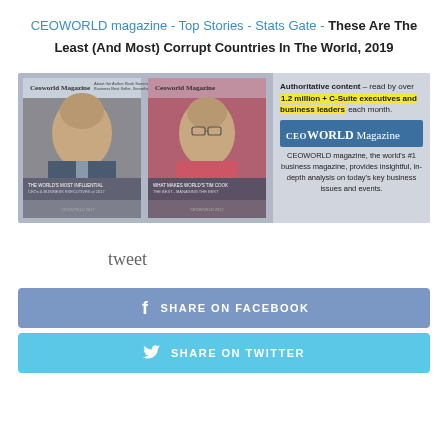CEOWORLD magazine - Top Stories - Stats Gate - These Are The Least (And Most) Corrupt Countries In The World, 2019
[Figure (infographic): CEOWORLD Magazine advertisement banner showing two magazine covers with Elon Musk and Tim Cook, alongside text: 'Authoritative content – read by over 1.2 million + C-Suite executives and business leaders each month.' and CEOWORLD Magazine logo and description.]
tweet
SHARE ON FACEBOOK
SHARE ON TWITTER